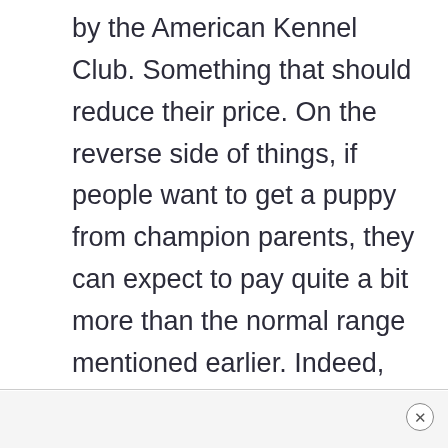by the American Kennel Club. Something that should reduce their price. On the reverse side of things, if people want to get a puppy from champion parents, they can expect to pay quite a bit more than the normal range mentioned earlier. Indeed, there are claims that they might have to pay as much as $3,500 to $5,000, which seems rather excessive unless they are determined to get such a dog for whatever reason.